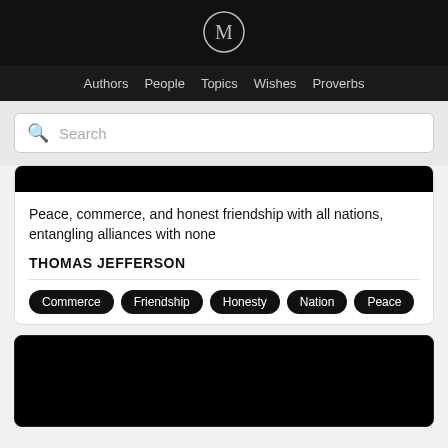[Figure (logo): Circular logo with letter M in white/grey on black background]
Authors  People  Topics  Wishes  Proverbs
Search
[Figure (photo): Black image area (partially visible quote card image)]
Peace, commerce, and honest friendship with all nations, entangling alliances with none
THOMAS JEFFERSON
Commerce
Friendship
Honesty
Nation
Peace
[Figure (photo): Black image area (second quote card, partially visible)]